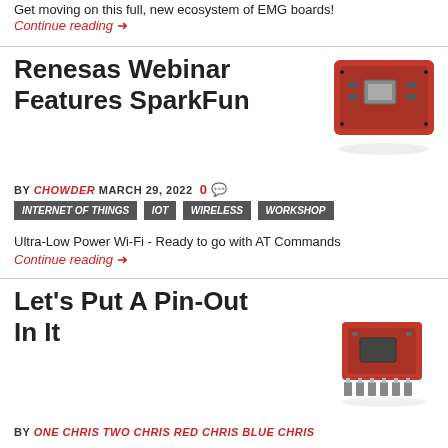Get moving on this full, new ecosystem of EMG boards!
Continue reading →
Renesas Webinar Features SparkFun
[Figure (photo): Red SparkFun IoT/Wi-Fi board PCB]
BY CHOWDER MARCH 29, 2022  0 💬
INTERNET OF THINGS  IOT  WIRELESS  WORKSHOP
Ultra-Low Power Wi-Fi - Ready to go with AT Commands
Continue reading →
Let's Put A Pin-Out In It
[Figure (photo): Red SparkFun breakout board with pin headers]
BY ONE CHRIS TWO CHRIS RED CHRIS BLUE CHRIS